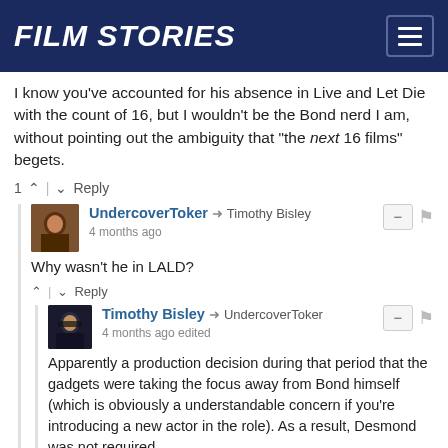FILM STORIES
I know you've accounted for his absence in Live and Let Die with the count of 16, but I wouldn't be the Bond nerd I am, without pointing out the ambiguity that "the next 16 films" begets.
1 ↑ | ↓ Reply
UndercoverToker → Timothy Bisley
4 months ago
Why wasn't he in LALD?
↑ | ↓ Reply
Timothy Bisley → UndercoverToker
4 months ago edited
Apparently a production decision during that period that the gadgets were taking the focus away from Bond himself (which is obviously a understandable concern if you're introducing a new actor in the role). As a result, Desmond was not required.